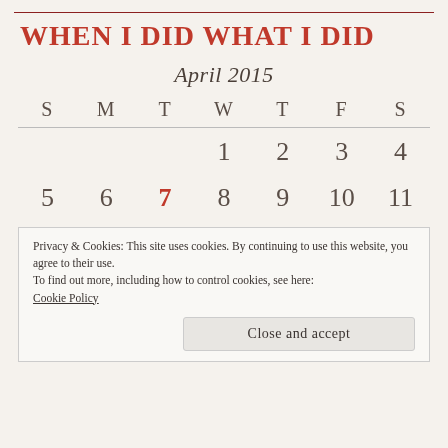WHEN I DID WHAT I DID
April 2015
| S | M | T | W | T | F | S |
| --- | --- | --- | --- | --- | --- | --- |
|  |  |  | 1 | 2 | 3 | 4 |
| 5 | 6 | 7 | 8 | 9 | 10 | 11 |
Privacy & Cookies: This site uses cookies. By continuing to use this website, you agree to their use.
To find out more, including how to control cookies, see here:
Cookie Policy
Close and accept